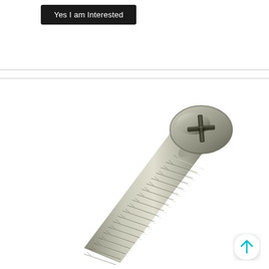Yes I am Interested
[Figure (photo): A stainless steel pan head Phillips screw photographed diagonally, showing the pan head with cross recess at the top right and the threaded shank extending to the lower left, on a white background.]
[Figure (illustration): Circular scroll-to-top button with a cyan/teal upward arrow icon on white background with drop shadow, positioned at bottom right.]